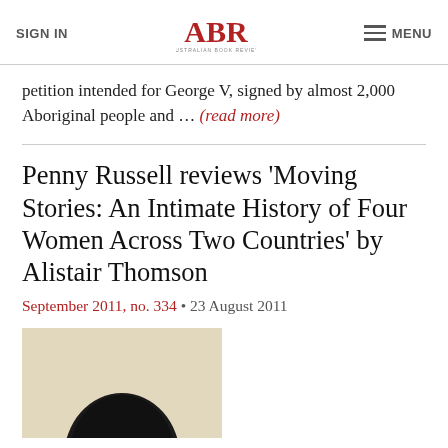SIGN IN | ABR AUSTRALIAN BOOK REVIEW | MENU
petition intended for George V, signed by almost 2,000 Aboriginal people and ... (read more)
Penny Russell reviews 'Moving Stories: An Intimate History of Four Women Across Two Countries' by Alistair Thomson
September 2011, no. 334 • 23 August 2011
[Figure (photo): Black and white photograph showing the top of a person's head with dark hair, on a light beige background]